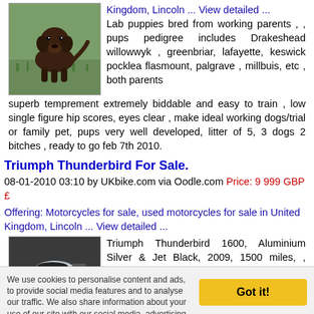[Figure (photo): Brown/chocolate Labrador dog sitting on grass]
Kingdom, Lincoln ... View detailed ... Lab puppies bred from working parents , , pups pedigree includes Drakeshead willowwyk , greenbriar, lafayette, keswick pocklea flasmount, palgrave , millbuis, etc , both parents superb temprement extremely biddable and easy to train , low single figure hip scores, eyes clear , make ideal working dogs/trial or family pet, pups very well developed, litter of 5, 3 dogs 2 bitches , ready to go feb 7th 2010.
Triumph Thunderbird For Sale.
08-01-2010 03:10 by UKbike.com via Oodle.com Price: 9 999 GBP £
Offering: Motorcycles for sale, used motorcycles for sale in United Kingdom, Lincoln ... View detailed ...
[Figure (photo): Silver and black Triumph Thunderbird motorcycle]
Triumph Thunderbird 1600, Aluminium Silver & Jet Black, 2009, 1500 miles, , Outstanding Manufactures warranty Outstanding RAC cover Extras included Massive saving over 2000.00
We use cookies to personalise content and ads, to provide social media features and to analyse our traffic. We also share information about your use of our site with our social media, advertising and analytics